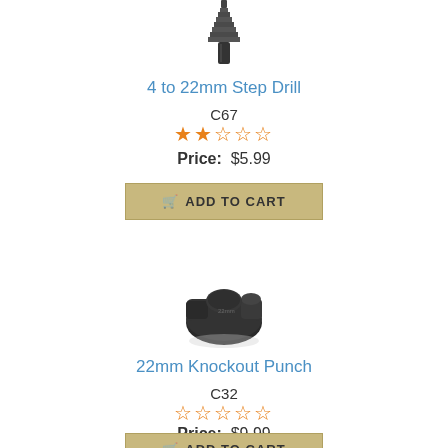[Figure (photo): 4 to 22mm Step Drill bit photo, top portion of drill bit visible]
4 to 22mm Step Drill
C67
★★☆☆☆ (2 out of 5 stars)
Price: $5.99
ADD TO CART
[Figure (photo): 22mm Knockout Punch tool, black metal socket-like fitting]
22mm Knockout Punch
C32
☆☆☆☆☆ (0 out of 5 stars)
Price: $9.99
ADD TO CART